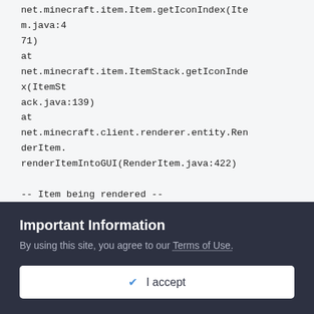net.minecraft.item.Item.getIconIndex(Item.java:471)
at net.minecraft.item.ItemStack.getIconIndex(ItemStack.java:139)
at net.minecraft.client.renderer.entity.RenderItem.renderItemIntoGUI(RenderItem.java:422)

-- Item being rendered --
Details:
Item Type: net.minecraft.item.ItemBlock@1a352828
Item Aux: 0
Item NBT: null
Item Foil: false
Stacktrace:
Important Information
By using this site, you agree to our Terms of Use.
✔  I accept